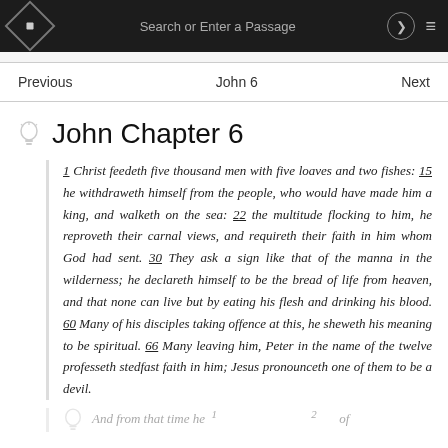Search or Enter a Passage
Previous   John 6   Next
John Chapter 6
1 Christ feedeth five thousand men with five loaves and two fishes: 15 he withdraweth himself from the people, who would have made him a king, and walketh on the sea: 22 the multitude flocking to him, he reproveth their carnal views, and requireth their faith in him whom God had sent. 30 They ask a sign like that of the manna in the wilderness; he declareth himself to be the bread of life from heaven, and that none can live but by eating his flesh and drinking his blood. 60 Many of his disciples taking offence at this, he sheweth his meaning to be spiritual. 66 Many leaving him, Peter in the name of the twelve professeth stedfast faith in him; Jesus pronounceth one of them to be a devil.